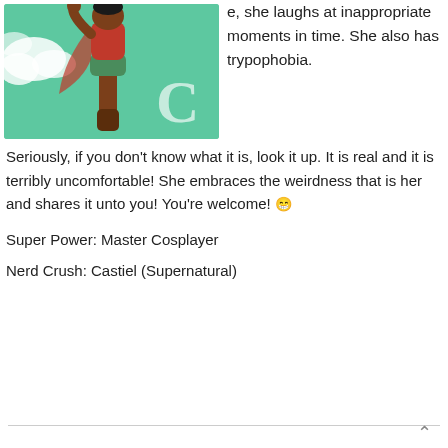[Figure (illustration): A cartoon/illustrated superhero character (appears to be a woman in a costume with cape) flying in a green sky with clouds. A large stylized letter 'C' watermark is visible in the lower right of the image.]
e, she laughs at inappropriate moments in time. She also has trypophobia.
Seriously, if you don't know what it is, look it up. It is real and it is terribly uncomfortable! She embraces the weirdness that is her and shares it unto you! You're welcome! 😁
Super Power: Master Cosplayer
Nerd Crush: Castiel (Supernatural)